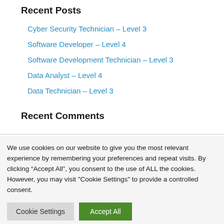Recent Posts
Cyber Security Technician – Level 3
Software Developer – Level 4
Software Development Technician – Level 3
Data Analyst – Level 4
Data Technician – Level 3
Recent Comments
We use cookies on our website to give you the most relevant experience by remembering your preferences and repeat visits. By clicking “Accept All”, you consent to the use of ALL the cookies. However, you may visit "Cookie Settings" to provide a controlled consent.